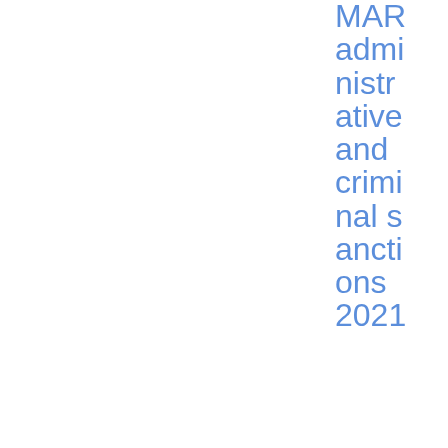MAR administrative and criminal sanctions 2021
19/11/2021
ESMA35-43-349
Q&As on MiFID II and MiFIR investor protection
MiFID - Investor Protection
Supervisory convergence
Q&A
PDF
1023.15 KB